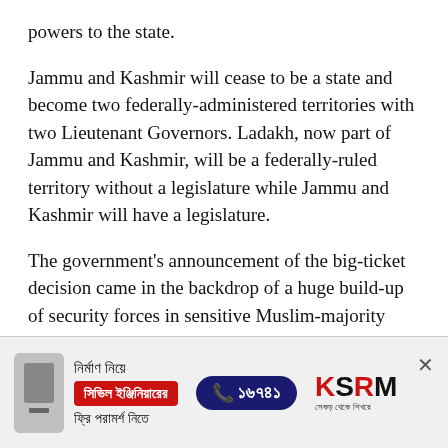powers to the state.
Jammu and Kashmir will cease to be a state and become two federally-administered territories with two Lieutenant Governors. Ladakh, now part of Jammu and Kashmir, will be a federally-ruled territory without a legislature while Jammu and Kashmir will have a legislature.
The government's announcement of the big-ticket decision came in the backdrop of a huge build-up of security forces in sensitive Muslim-majority Kashmir Valley and security clampdown
[Figure (infographic): Advertisement banner in Bengali: 'নির্মাণ নিয়ে সিভিল ইঞ্জিনিয়ারের ফ্রি পরামর্শ নিতে' with phone number ১৬৭৪১ and KSRM logo]